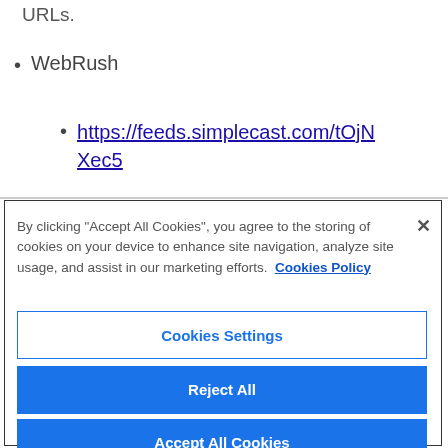URLs.
WebRush
https://feeds.simplecast.com/tOjNXec5
By clicking "Accept All Cookies", you agree to the storing of cookies on your device to enhance site navigation, analyze site usage, and assist in our marketing efforts. Cookies Policy
Cookies Settings
Reject All
Accept All Cookies